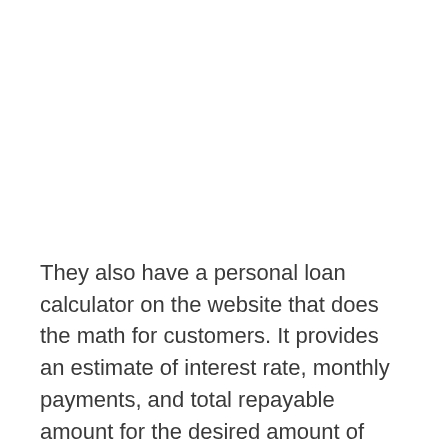They also have a personal loan calculator on the website that does the math for customers. It provides an estimate of interest rate, monthly payments, and total repayable amount for the desired amount of